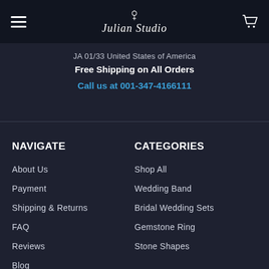Julian Studio
JA 01/33 United States of America
Free Shipping on All Orders
Call us at 001‑347‑4166111
NAVIGATE
About Us
Payment
Shipping & Returns
FAQ
Reviews
Blog
CATEGORIES
Shop All
Wedding Band
Bridal Wedding Sets
Gemstone Ring
Stone Shapes